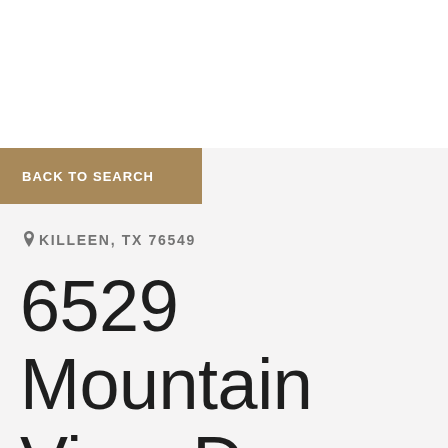BACK TO SEARCH
KILLEEN, TX 76549
6529 Mountain View Dr